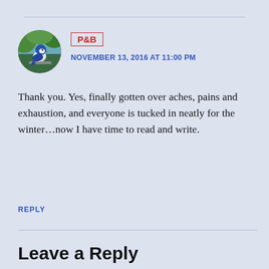[Figure (photo): Circular avatar photo of a bird (appears to be a jay or similar bird) perched on a surface, with a blurred green background]
P&B
NOVEMBER 13, 2016 AT 11:00 PM
Thank you. Yes, finally gotten over aches, pains and exhaustion, and everyone is tucked in neatly for the winter...now I have time to read and write.
REPLY
Leave a Reply
Your email address will not be published. Required fields are marked *